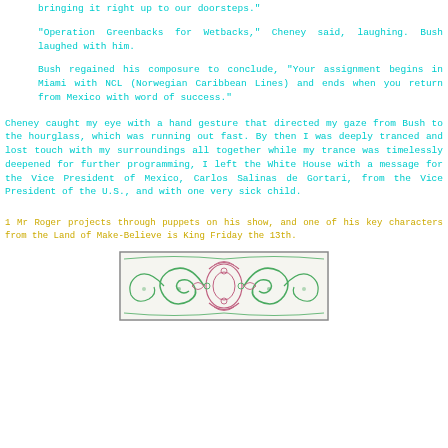bringing it right up to our doorsteps."
"Operation Greenbacks for Wetbacks," Cheney said, laughing. Bush laughed with him.
Bush regained his composure to conclude, "Your assignment begins in Miami with NCL (Norwegian Caribbean Lines) and ends when you return from Mexico with word of success."
Cheney caught my eye with a hand gesture that directed my gaze from Bush to the hourglass, which was running out fast. By then I was deeply tranced and lost touch with my surroundings all together while my trance was timelessly deepened for further programming, I left the White House with a message for the Vice President of Mexico, Carlos Salinas de Gortari, from the Vice President of the U.S., and with one very sick child.
1 Mr Roger projects through puppets on his show, and one of his key characters from the Land of Make-Believe is King Friday the 13th.
[Figure (illustration): Decorative Celtic/Art Nouveau style ornamental border illustration with swirling green and pink/red floral and leaf motifs in a rectangular frame.]